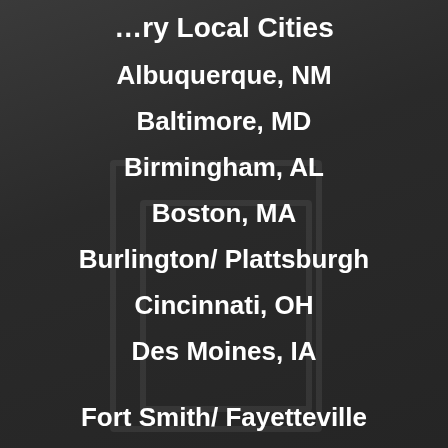…ry Local Cities
Albuquerque, NM
Baltimore, MD
Birmingham, AL
Boston, MA
Burlington/ Plattsburgh
Cincinnati, OH
Des Moines, IA
Fort Smith/ Fayetteville